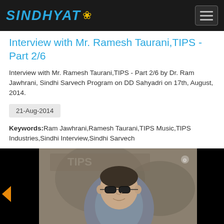SINDHYAT
Interview with Mr. Ramesh Taurani,TIPS - Part 2/6
Interview with Mr. Ramesh Taurani,TIPS - Part 2/6 by Dr. Ram Jawhrani, Sindhi Sarvech Program on DD Sahyadri on 17th, August, 2014.
21-Aug-2014
Keywords:Ram Jawhrani,Ramesh Taurani,TIPS Music,TIPS Industries,Sindhi Interview,Sindhi Sarvech
[Figure (photo): Video thumbnail showing a man with glasses wearing a grey shirt, seated in what appears to be a TV studio with a decorative background. The video is part of an interview series on Sindhyat website.]